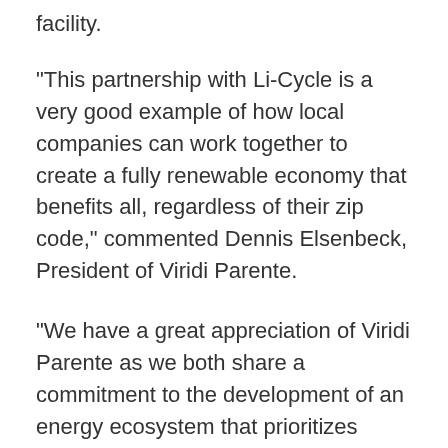facility.
"This partnership with Li-Cycle is a very good example of how local companies can work together to create a fully renewable economy that benefits all, regardless of their zip code," commented Dennis Elsenbeck, President of Viridi Parente.
"We have a great appreciation of Viridi Parente as we both share a commitment to the development of an energy ecosystem that prioritizes sustainability as it pertains to lithium-ion battery resource recovery," said Ajay Kochhar, President, CEO, and Co-founder of Li-Cycle. "Our commercial lithium-ion battery recycling facility in Rochester, New York, is a great example of our environmental